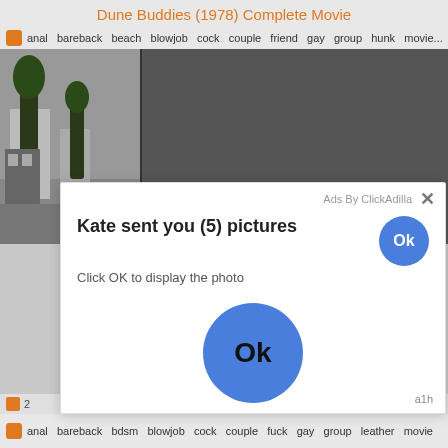Dune Buddies (1978) Complete Movie
anal  bareback  beach  blowjob  cock  couple  friend  gay  group  hunk  movie...
[Figure (screenshot): Video player showing grainy black and white street/outdoor footage with a Close Ad button overlay]
[Figure (screenshot): Ad overlay popup: 'Kate sent you (5) pictures / Click OK to display the photo' with blue Ok buttons, Ads By ClickAdilla label and X close button]
2
08:56
a1h
anal  bareback  bdsm  blowjob  cock  couple  fuck  gay  group  leather  movie